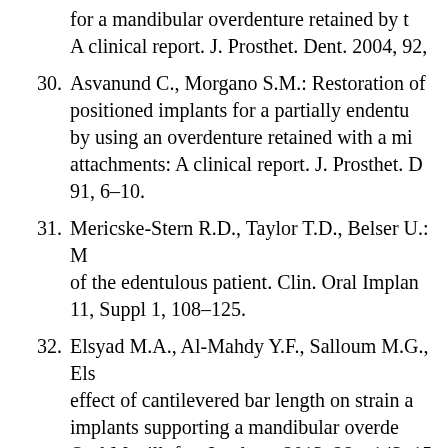for a mandibular overdenture retained by … A clinical report. J. Prosthet. Dent. 2004, 92,
30. Asvanund C., Morgano S.M.: Restoration of positioned implants for a partially edentu… by using an overdenture retained with a mi… attachments: A clinical report. J. Prosthet. D… 91, 6–10.
31. Mericske-Stern R.D., Taylor T.D., Belser U.: M… of the edentulous patient. Clin. Oral Implan… 11, Suppl 1, 108–125.
32. Elsyad M.A., Al-Mahdy Y.F., Salloum M.G., Els… effect of cantilevered bar length on strain a… implants supporting a mandibular overde… Oral Maxillofac. Implants 2013, 28, e143–15…
33. Kono K., Kurihara D., Suzuki Y., Ohkubo C.: … assessment of mandibular single/two impla… overdentures using stress-breaking attachm… Implant Dent. 2014, 23, 456–462.